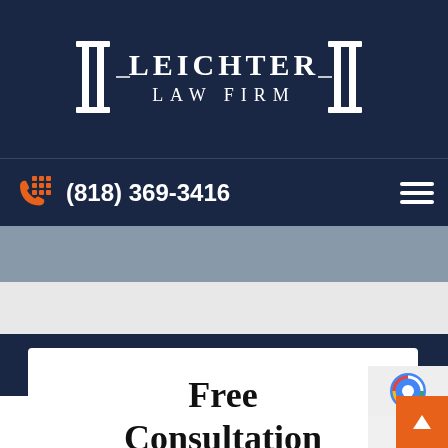[Figure (logo): Leichter Law Firm logo with pillar decorations on dark navy background]
(818) 369-3416
Free Consultation